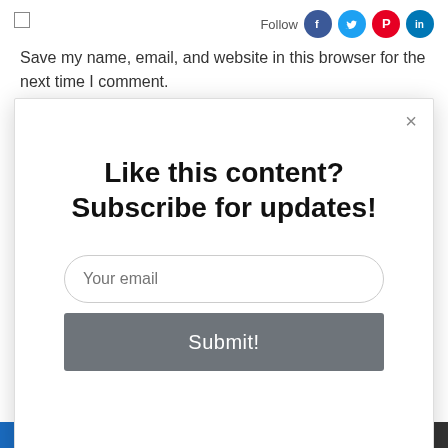[Figure (screenshot): Checkbox input element in top-left corner of background page]
[Figure (infographic): Follow social media icons: Facebook (blue), Twitter (light blue), Pinterest (red), LinkedIn (blue)]
Save my name, email, and website in this browser for the next time I comment.
Like this content? Subscribe for updates!
[Figure (screenshot): Email input field with placeholder text 'Your email']
[Figure (screenshot): Submit button with text 'Submit!']
[Figure (screenshot): AddThis share badge in bottom right corner]